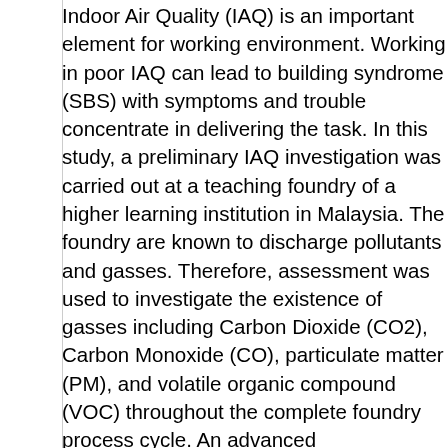Indoor Air Quality (IAQ) is an important element for working environment. Working in poor IAQ can lead to building syndrome (SBS) with symptoms and trouble concentrate in delivering the task. In this study, a preliminary IAQ investigation was carried out at a teaching foundry of a higher learning institution in Malaysia. The foundry are known to discharge pollutants and gasses. Therefore, assessment was used to investigate the existence of gasses including Carbon Dioxide (CO2), Carbon Monoxide (CO), particulate matter (PM), and volatile organic compound (VOC) throughout the complete foundry process cycle. An advanced environmental monitor kit was used to monitor air quality at three different locations within the foundry to ensure a good distribution of data. The results reveal that only PM10 traces were detected with the reading is still within the allowable range based on guidelines from the Department of Occupational Safety and Health (DOSH), Malaysia. As for the thermal comfort result, the Temperature and Relative Humidity was found to exceeds the benchmark value. Therefore, a comprehensive and detailed thermal comfort study should be conducted to validate the current finding and an appropriate